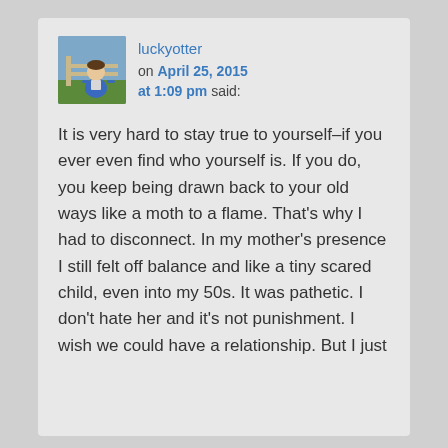[Figure (photo): Avatar photo of luckyotter, a person in a blue top outdoors near a fence]
luckyotter on April 25, 2015 at 1:09 pm said:
It is very hard to stay true to yourself–if you ever even find who yourself is. If you do, you keep being drawn back to your old ways like a moth to a flame. That's why I had to disconnect. In my mother's presence I still felt off balance and like a tiny scared child, even into my 50s. It was pathetic. I don't hate her and it's not punishment. I wish we could have a relationship. But I just